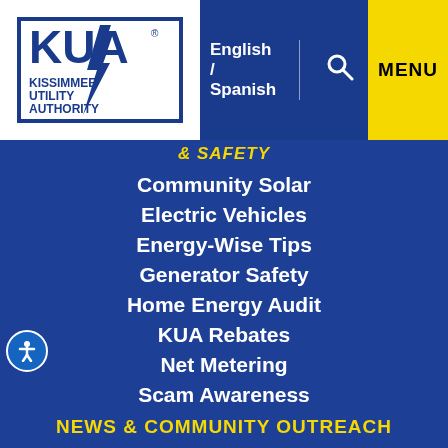KUA Kissimmee Utility Authority — English / Spanish — Search — MENU
& SAFETY
Community Solar
Electric Vehicles
Energy-Wise Tips
Generator Safety
Home Energy Audit
KUA Rebates
Net Metering
Scam Awareness
NEWS & COMMUNITY OUTREACH
Blog
Community Events
Community Involvement